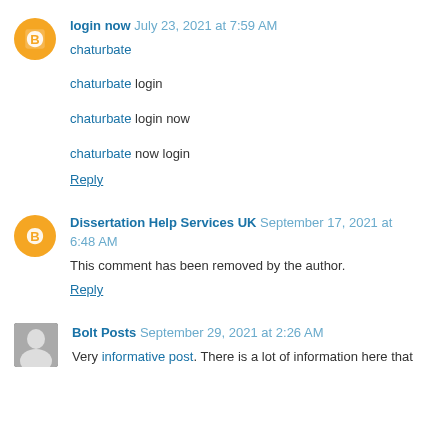login now  July 23, 2021 at 7:59 AM
chaturbate
chaturbate login
chaturbate login now
chaturbate now login
Reply
Dissertation Help Services UK  September 17, 2021 at 6:48 AM
This comment has been removed by the author.
Reply
Bolt Posts  September 29, 2021 at 2:26 AM
Very informative post. There is a lot of information here that